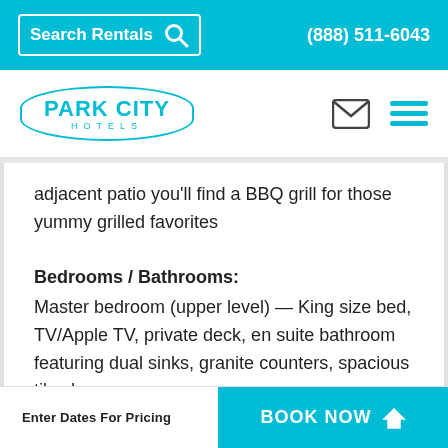Search Rentals  (888) 511-6043
[Figure (logo): Park City Hotels logo with cyan oval border, text PARK CITY HOTELS]
adjacent patio you'll find a BBQ grill for those yummy grilled favorites
Bedrooms / Bathrooms:
Master bedroom (upper level) — King size bed, TV/Apple TV, private deck, en suite bathroom featuring dual sinks, granite counters, spacious tile shower
Enter Dates For Pricing  BOOK NOW